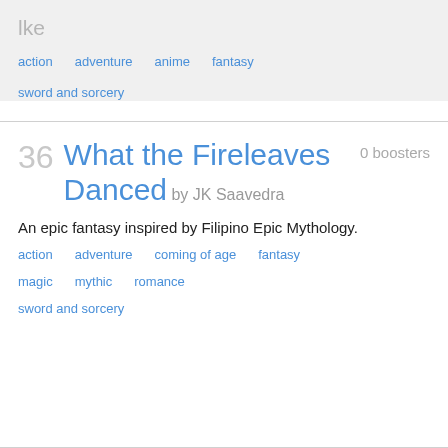lke
action   adventure   anime   fantasy
sword and sorcery
36   What the Fireleaves Danced by JK Saavedra   0 boosters
An epic fantasy inspired by Filipino Epic Mythology.
action   adventure   coming of age   fantasy
magic   mythic   romance
sword and sorcery